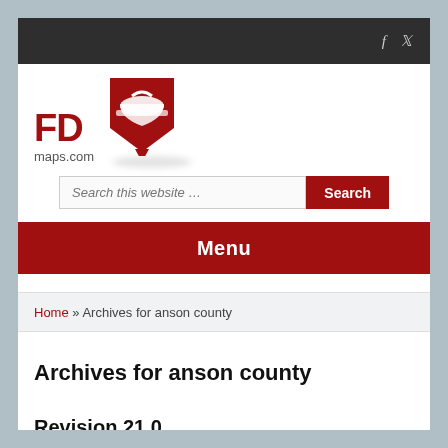[Figure (logo): FDmaps.com logo with red firefighter helmet shield icon]
Search this website …
Menu
Home » Archives for anson county
Archives for anson county
Revision 21.0